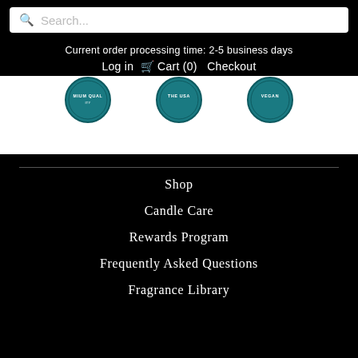Search...
Current order processing time: 2-5 business days
Log in  Cart (0)  Checkout
[Figure (other): Three circular teal badge icons partially visible: MIUM QUAL, THE USA, VEGAN]
Shop
Candle Care
Rewards Program
Frequently Asked Questions
Fragrance Library